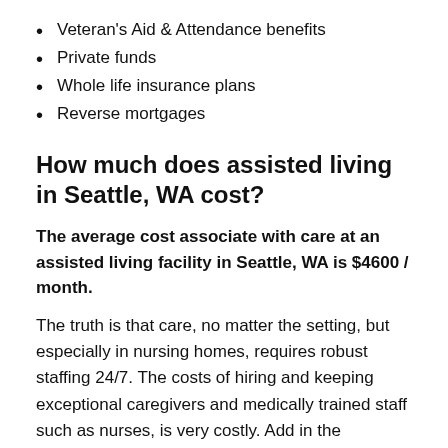Veteran's Aid & Attendance benefits
Private funds
Whole life insurance plans
Reverse mortgages
How much does assisted living in Seattle, WA cost?
The average cost associate with care at an assisted living facility in Seattle, WA is $4600 / month.
The truth is that care, no matter the setting, but especially in nursing homes, requires robust staffing 24/7. The costs of hiring and keeping exceptional caregivers and medically trained staff such as nurses, is very costly. Add in the